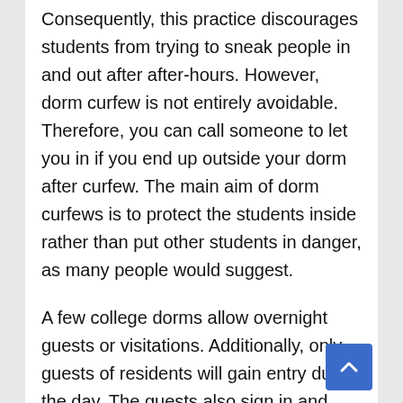Consequently, this practice discourages students from trying to sneak people in and out after after-hours. However, dorm curfew is not entirely avoidable. Therefore, you can call someone to let you in if you end up outside your dorm after curfew. The main aim of dorm curfews is to protect the students inside rather than put other students in danger, as many people would suggest.
A few college dorms allow overnight guests or visitations. Additionally, only guests of residents will gain entry during the day. The guests also sign in and sign out to give a clear record in case of strange occurrences. Similarly, check with your Resident Assistant or dorm manager to learn their policy on overnight guests. Some